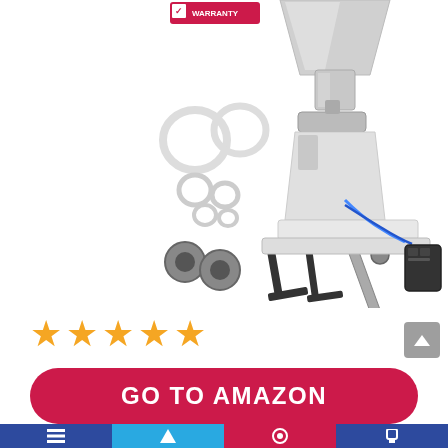[Figure (photo): Product photo of a liquid filling machine kit with stainless steel hopper/nozzle assembly, O-rings, hex wrenches, piston rod, bearings, and a stepper motor on white background. Red warranty badge in top-left corner.]
[Figure (other): Five gold/orange star rating icons]
GO TO AMAZON
[Figure (other): Bottom navigation bar with icons in blue and red sections]